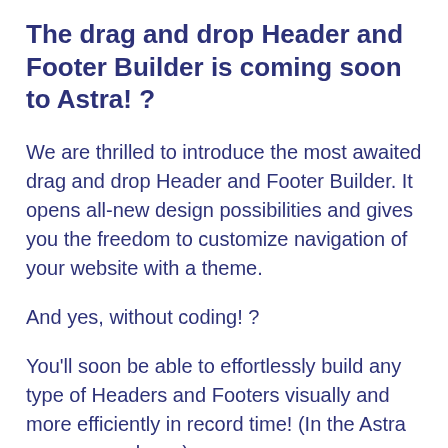The drag and drop Header and Footer Builder is coming soon to Astra! ?
We are thrilled to introduce the most awaited drag and drop Header and Footer Builder. It opens all-new design possibilities and gives you the freedom to customize navigation of your website with a theme.
And yes, without coding! ?
You'll soon be able to effortlessly build any type of Headers and Footers visually and more efficiently in record time! (In the Astra way, as you know). ☺
The Header builder lets you add a logo, primary menu, secondary menu, HTML code, buttons, social icons,